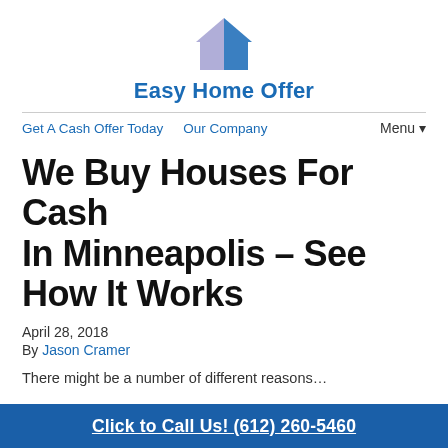[Figure (logo): Easy Home Offer house logo — a house silhouette with blue and light purple/lavender coloring]
Easy Home Offer
Get A Cash Offer Today   Our Company   Menu ▼
We Buy Houses For Cash In Minneapolis – See How It Works
April 28, 2018
By Jason Cramer
There might be a number of different reasons…
Click to Call Us! (612) 260-5460